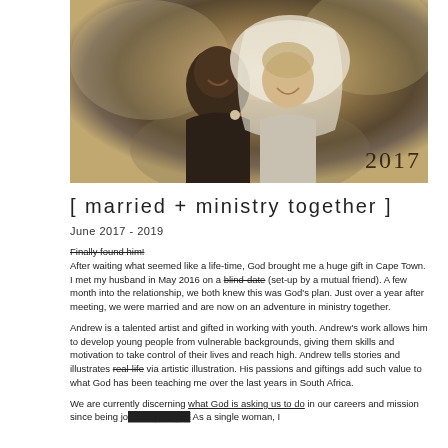[Figure (photo): Sepia-toned wedding photo of a couple smiling joyfully. A Black man in a suit with a boutonniere and a white woman in a bridal veil, embracing. The year '2017' is overlaid in the bottom right.]
[ married + ministry together ]
June 2017 - 2019
Finally found him!
After waiting what seemed like a life-time, God brought me a huge gift in Cape Town. I met my husband in May 2016 on a blind-date (set-up by a mutual friend). A few month into the relationship, we both knew this was God's plan. Just over a year after meeting, we were married and are now on an adventure in ministry together.
Andrew is a talented artist and gifted in working with youth. Andrew's work allows him to develop young people from vulnerable backgrounds, giving them skills and motivation to take control of their lives and reach high. Andrew tells stories and illustrates real-life via artistic illustration. His passions and giftings add such value to what God has been teaching me over the last years in South Africa.
We are currently discerning what God is asking us to do in our careers and mission since being jo... As a single woman, I...